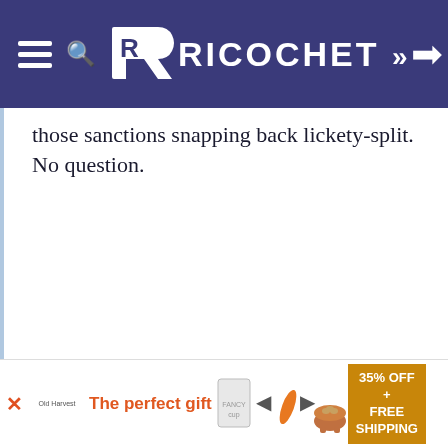RICOCHET
those sanctions snapping back lickety-split. No question.
[Figure (screenshot): Advertisement banner: 'The perfect gift' with food product images and '35% OFF + FREE SHIPPING' offer]